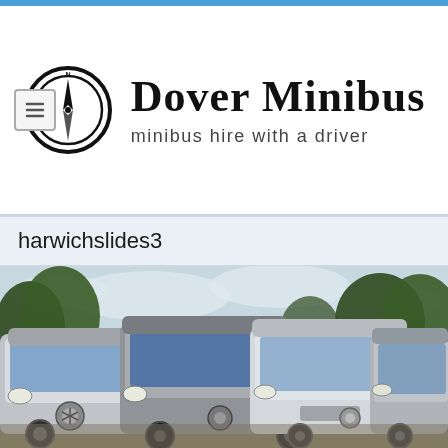Dover Minibus — minibus hire with a driver
harwichslides3
[Figure (photo): Fleet of silver/white Mercedes Sprinter minibuses parked in a row outdoors, trees and cloudy sky in background]